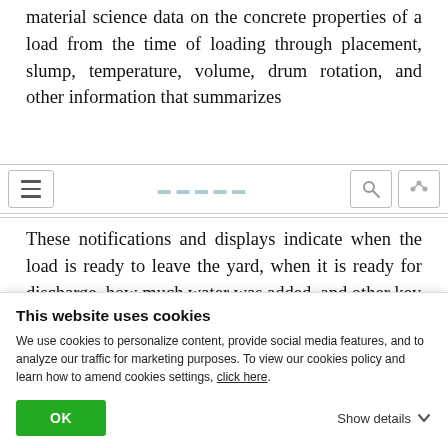material science data on the concrete properties of a load from the time of loading through placement, slump, temperature, volume, drum rotation, and other information that summarizes
These notifications and displays indicate when the load is ready to leave the yard, when it is ready for discharge, how much water was added, and other key
This website uses cookies
We use cookies to personalize content, provide social media features, and to analyze our traffic for marketing purposes. To view our cookies policy and learn how to amend cookies settings, click here.
OK  Show details